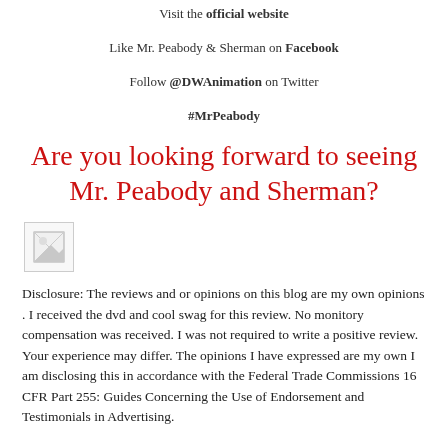Visit the official website
Like Mr. Peabody & Sherman on Facebook
Follow @DWAnimation on Twitter
#MrPeabody
Are you looking forward to seeing Mr. Peabody and Sherman?
[Figure (other): Broken/missing image placeholder icon]
Disclosure: The reviews and or opinions on this blog are my own opinions . I received the dvd and cool swag for this review. No monitory compensation was received. I was not required to write a positive review. Your experience may differ. The opinions I have expressed are my own I am disclosing this in accordance with the Federal Trade Commissions 16 CFR Part 255: Guides Concerning the Use of Endorsement and Testimonials in Advertising.